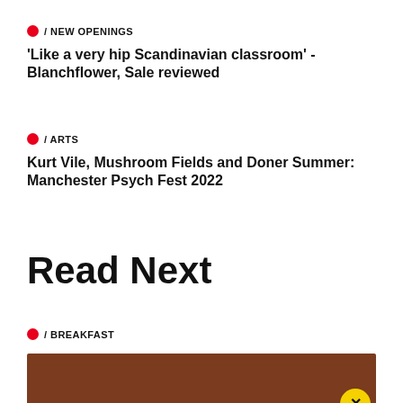/ NEW OPENINGS
'Like a very hip Scandinavian classroom' - Blanchflower, Sale reviewed
/ ARTS
Kurt Vile, Mushroom Fields and Doner Summer: Manchester Psych Fest 2022
Read Next
/ BREAKFAST
[Figure (photo): Brown/dark orange image thumbnail with a yellow circular badge containing an X mark in the bottom right corner]